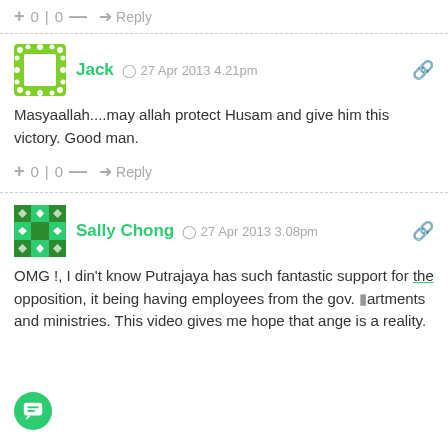+ 0 | 0 — ➤ Reply
Jack  🕐 27 Apr 2013 4.21pm
Masyaallah....may allah protect Husam and give him this victory. Good man.
+ 0 | 0 — ➤ Reply
Sally Chong  🕐 27 Apr 2013 3.08pm
OMG !, I din't know Putrajaya has such fantastic support for the opposition, it being having employees from the gov. departments and ministries. This video gives me hope that change is a reality.